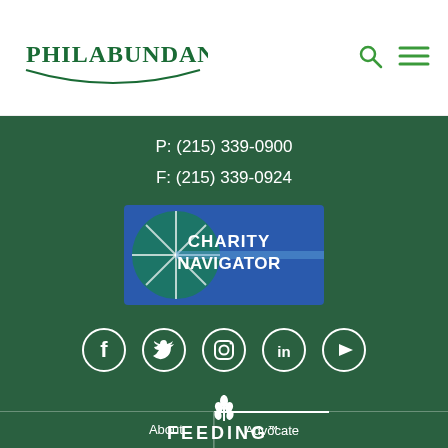[Figure (logo): Philabundance organization logo with green text and arc underline]
[Figure (logo): Green search icon (magnifying glass)]
[Figure (logo): Green hamburger menu icon]
P: (215) 339-0900
F: (215) 339-0924
[Figure (logo): Charity Navigator badge with blue background and white/teal starburst design]
[Figure (logo): Social media icons row: Facebook, Twitter, Instagram, LinkedIn, YouTube - white circles on green background]
[Figure (logo): Feeding America logo in white with wheat stalk graphic]
Advocate
About